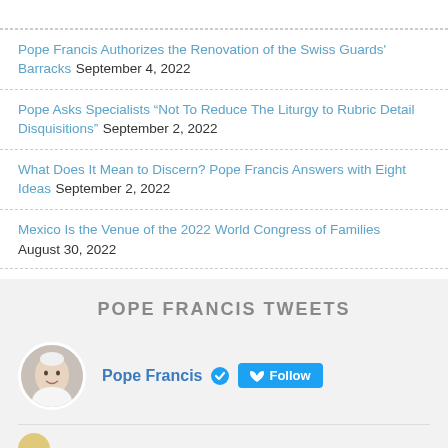Pope Francis Authorizes the Renovation of the Swiss Guards' Barracks September 4, 2022
Pope Asks Specialists “Not To Reduce The Liturgy to Rubric Detail Disquisitions” September 2, 2022
What Does It Mean to Discern? Pope Francis Answers with Eight Ideas September 2, 2022
Mexico Is the Venue of the 2022 World Congress of Families August 30, 2022
POPE FRANCIS TWEETS
Pope Francis ✓ Follow